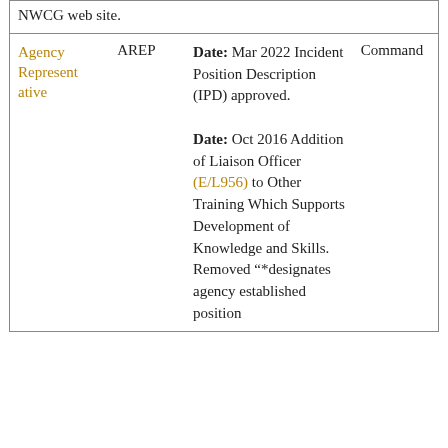| NWCG web site. |  |  |  |
| Agency Representative | AREP | Date: Mar 2022 Incident Position Description (IPD) approved.

Date: Oct 2016 Addition of Liaison Officer (E/L956) to Other Training Which Supports Development of Knowledge and Skills. Removed "*designates agency established position | Command |